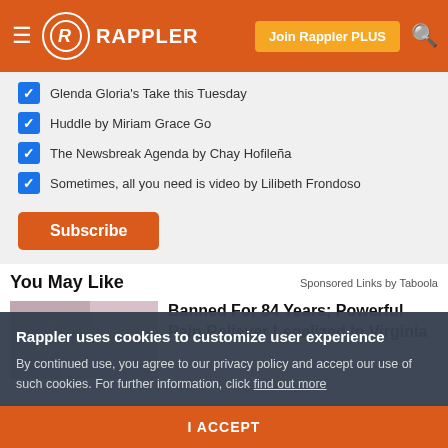RAPPLER — Join Rappler PLUS
Glenda Gloria's Take this Tuesday
Huddle by Miriam Grace Go
The Newsbreak Agenda by Chay Hofileña
Sometimes, all you need is video by Lilibeth Frondoso
Subscribe
You May Like
Sponsored Links by Taboola
Banned For 84 Years; Powerful Pain Reliever Legalized In Virginia
Rappler uses cookies to customize user experience
By continued use, you agree to our privacy policy and accept our use of such cookies. For further information, click find out more
I ACCEPT